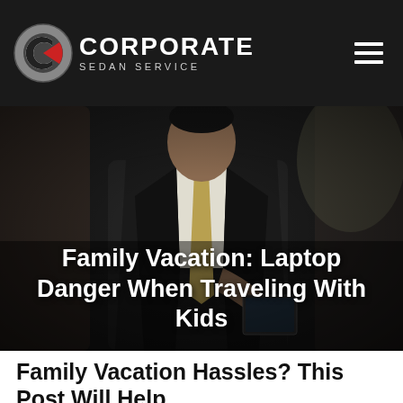CORPORATE SEDAN SERVICE
[Figure (photo): Business man in suit sitting in back of sedan, using a tablet/phone device. Dark moody lighting inside car interior.]
Family Vacation: Laptop Danger When Traveling With Kids
Family Vacation Hassles? This Post Will Help.